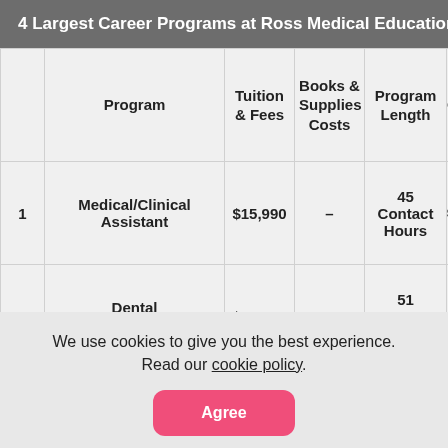4 Largest Career Programs at Ross Medical Education
|  | Program | Tuition & Fees | Books & Supplies Costs | Program Length | C |
| --- | --- | --- | --- | --- | --- |
| 1 | Medical/Clinical Assistant | $15,990 | – | 45 Contact Hours |  |
| 2 | Dental Assisting/Assistant | $15,990 | – | 51 Contact Hours |  |
We use cookies to give you the best experience. Read our cookie policy.
Agree